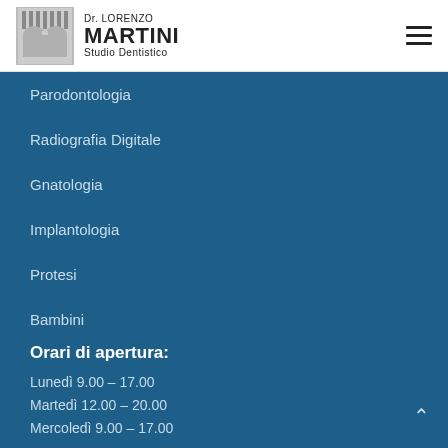Dr. LORENZO MARTINI Studio Dentistico
Parodontologia
Radiografia Digitale
Gnatologia
Implantologia
Protesi
Bambini
Orari di apertura:
Lunedì 9.00 – 17.00
Martedì 12.00 – 20.00
Mercoledì 9.00 – 17.00